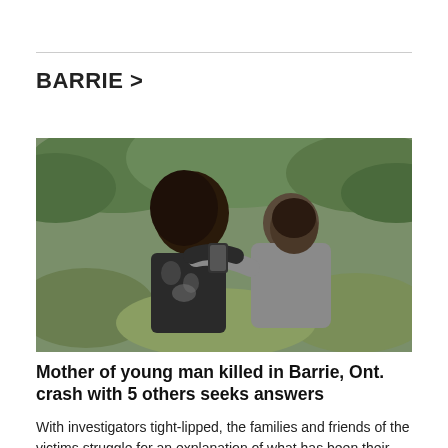BARRIE >
[Figure (photo): Two people embracing outdoors with curly hair visible, green bushes in background. One person in a grey shirt hugging the other who holds a phone and wears a black and white patterned top.]
Mother of young man killed in Barrie, Ont. crash with 5 others seeks answers
With investigators tight-lipped, the families and friends of the victims struggle for an explanation of what has been their